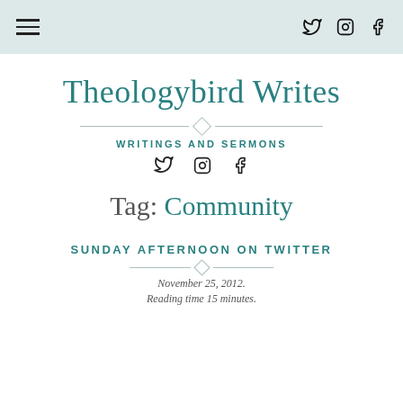Navigation bar with hamburger menu and social icons (Twitter, Instagram, Facebook)
Theologybird Writes
WRITINGS AND SERMONS
[Figure (infographic): Social media icons: Twitter, Instagram, Facebook]
Tag: Community
SUNDAY AFTERNOON ON TWITTER
November 25, 2012.
Reading time 15 minutes.